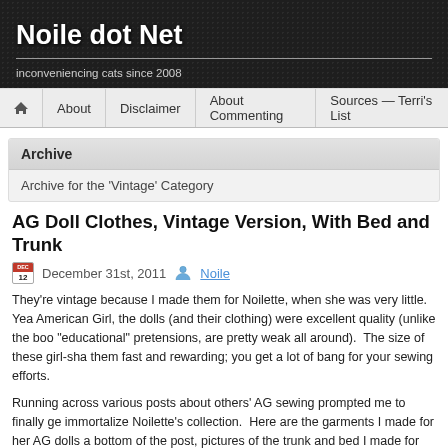Noile dot Net — inconveniencing cats since 2008
Archive
Archive for the 'Vintage' Category
AG Doll Clothes, Vintage Version, With Bed and Trunk
December 31st, 2011  Noile
They're vintage because I made them for Noilette, when she was very little.   Years ago, when it was American Girl, the dolls (and their clothing) were excellent quality (unlike the boo... "educational" pretensions, are pretty weak all around).  The size of these girl-shaped dolls makes them fast and rewarding; you get a lot of bang for your sewing efforts.
Running across various posts about others' AG sewing prompted me to finally ge... immortalize Noilette's collection.  Here are the garments I made for her AG dolls a... bottom of the post, pictures of the trunk and bed I made for her, too.)
[Figure (photo): Photo of doll clothing items on a wooden surface]